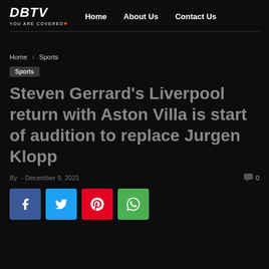DBTV YOU ARE COVERED | Home | About Us | Contact Us
Home › Sports
Sports
Steven Gerrard's Liverpool return with Aston Villa is start of audition to replace Jurgen Klopp
By - December 9, 2021 | 0 comments
[Figure (infographic): Social share buttons: Facebook (blue), Twitter (cyan), Pinterest (red), WhatsApp (green)]